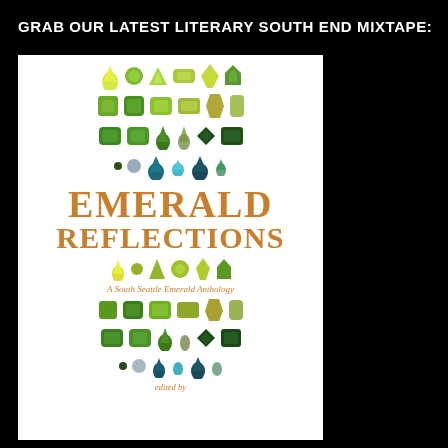GRAB OUR LATEST LITERARY SOUTH END MIXTAPE:
[Figure (illustration): Book cover for 'Emerald Reflections: A South Seattle Emerald Anthology', featuring rows of green and teal gemstones in various cuts and shapes arranged in a grid pattern, with the title text in orange/gold serif font, and subtitle 'A South Seattle Emerald Anthology' in italic, ending with 'edited by']